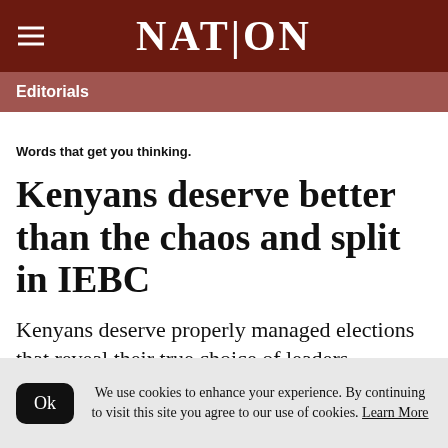NATION
Editorials
Words that get you thinking.
Kenyans deserve better than the chaos and split in IEBC
Kenyans deserve properly managed elections that reveal their true choice of leaders
We use cookies to enhance your experience. By continuing to visit this site you agree to our use of cookies. Learn More